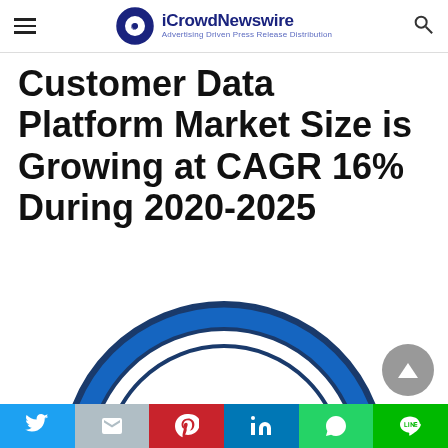iCrowdNewswire — Advertising Driven Press Release Distribution
Customer Data Platform Market Size is Growing at CAGR 16% During 2020-2025
[Figure (donut-chart): Partial view of a donut/ring chart with blue arc on white background, cropped at bottom of page]
Social share buttons: Twitter, Gmail, Pinterest, LinkedIn, WhatsApp, Line